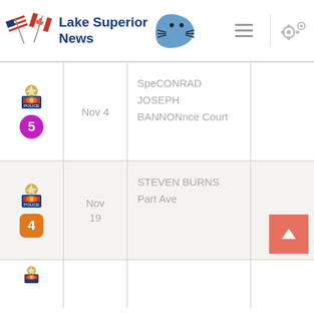Lake Superior News
| Badge | Date | Name/Location |  |
| --- | --- | --- | --- |
| 5 | Nov 4 | SpeCONRAD JOSEPH BANNONnce Court |  |
| 4 | Nov 19 | STEVEN BURNS Part Ave | ↑ |
|  |  |  |  |